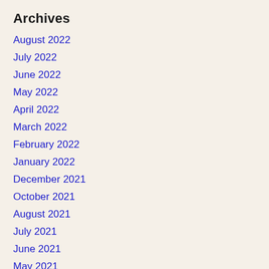Archives
August 2022
July 2022
June 2022
May 2022
April 2022
March 2022
February 2022
January 2022
December 2021
October 2021
August 2021
July 2021
June 2021
May 2021
April 2021
March 2021